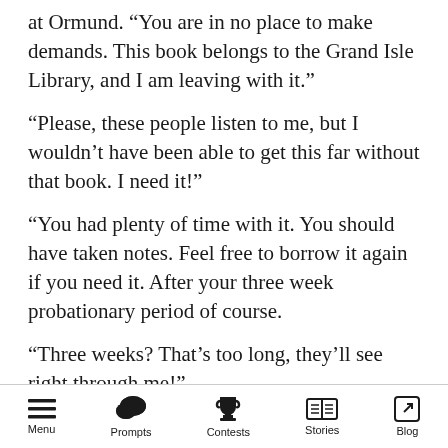at Ormund. “You are in no place to make demands. This book belongs to the Grand Isle Library, and I am leaving with it.”
“Please, these people listen to me, but I wouldn’t have been able to get this far without that book. I need it!”
“You had plenty of time with it. You should have taken notes. Feel free to borrow it again if you need it. After your three week probationary period of course.
“Three weeks? That’s too long, they’ll see right through me!”
“That’s unfortunate. Goodbye Ormund, and good
Menu   Prompts   Contests   Stories   Blog